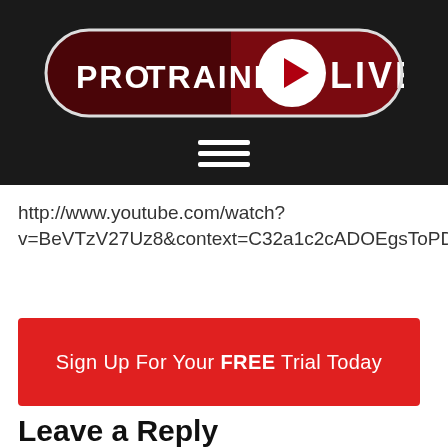[Figure (logo): ProTrainer Live logo — dark red pill-shaped badge with white text PRO TRAINER and a play button circle, then LIVE in white on dark red]
http://www.youtube.com/watch?v=BeVTzV27Uz8&context=C32a1c2cADOEgsToPDskI7p3q2
Sign Up For Your FREE Trial Today
Leave a Reply